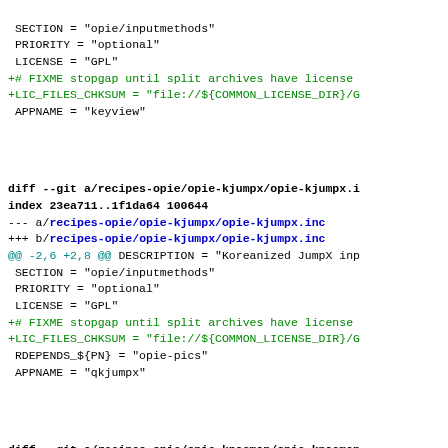SECTION = "opie/inputmethods"
 PRIORITY = "optional"
 LICENSE = "GPL"
+# FIXME stopgap until split archives have license
+LIC_FILES_CHKSUM = "file://${COMMON_LICENSE_DIR}/G
 APPNAME = "keyview"
diff --git a/recipes-opie/opie-kjumpx/opie-kjumpx.i
index 23ea711..1f1da64 100644
--- a/recipes-opie/opie-kjumpx/opie-kjumpx.inc
+++ b/recipes-opie/opie-kjumpx/opie-kjumpx.inc
@@ -2,6 +2,8 @@ DESCRIPTION = "Koreanized JumpX inp
 SECTION = "opie/inputmethods"
 PRIORITY = "optional"
 LICENSE = "GPL"
+# FIXME stopgap until split archives have license
+LIC_FILES_CHKSUM = "file://${COMMON_LICENSE_DIR}/G
 RDEPENDS_${PN} = "opie-pics"
 APPNAME = "qkjumpx"
diff --git a/recipes-opie/opie-kpacman/opie-kpacman
index 7ee37ff..4646fc6 100644
--- a/recipes-opie/opie-kpacman/opie-kpacman.inc
+++ b/recipes-opie/opie-kpacman/opie-kpacman.inc
@@ -2,6 +2,8 @@ DESCRIPTION = "Kpacman, the classic
 SECTION = "opie/games"
 PRIORITY = "optional"
 LICENSE = "GPL"